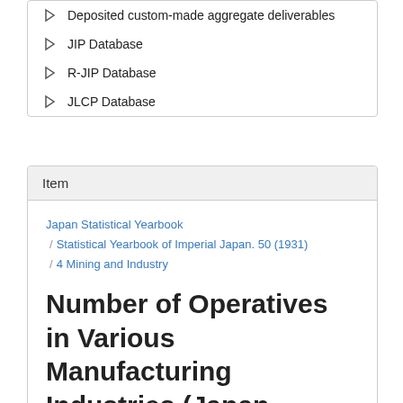Deposited custom-made aggregate deliverables
JIP Database
R-JIP Database
JLCP Database
Item
Japan Statistical Yearbook / Statistical Yearbook of Imperial Japan. 50 (1931) / 4 Mining and Industry
Number of Operatives in Various Manufacturing Industries (Japan Proper) (1920-1929) : Statistical Yearbook of